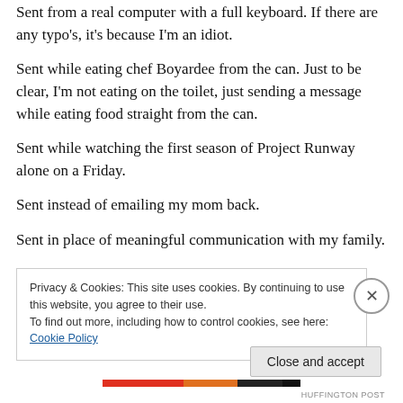Sent from a real computer with a full keyboard. If there are any typo's, it's because I'm an idiot.
Sent while eating chef Boyardee from the can. Just to be clear, I'm not eating on the toilet, just sending a message while eating food straight from the can.
Sent while watching the first season of Project Runway alone on a Friday.
Sent instead of emailing my mom back.
Sent in place of meaningful communication with my family.
Privacy & Cookies: This site uses cookies. By continuing to use this website, you agree to their use.
To find out more, including how to control cookies, see here: Cookie Policy